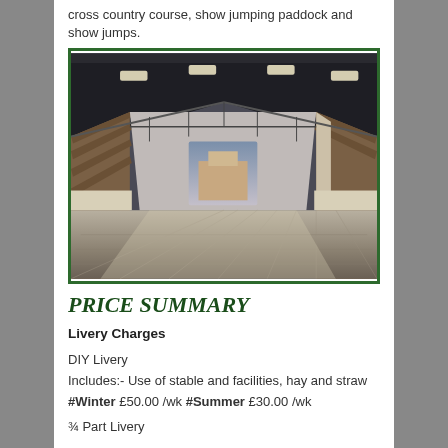cross country course, show jumping paddock and show jumps.
[Figure (photo): Interior of an indoor equestrian arena with a sand/gravel floor, wooden side panelling, metal roof structure with skylights, and an open end showing daylight.]
PRICE SUMMARY
Livery Charges
DIY Livery
Includes:- Use of stable and facilities, hay and straw
#Winter £50.00 /wk #Summer £30.00 /wk
¾ Part Livery